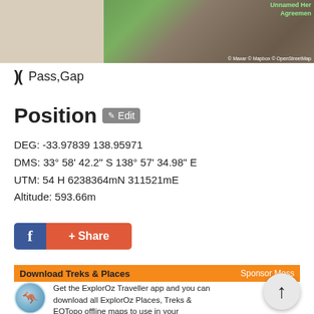[Figure (screenshot): Satellite/aerial map view showing terrain with green fields and brown rocky area. Overlay text reads 'Unnamed Her Agreement'. Copyright notice: © Maxar © Mapbox © OpenStreetMap]
Pass,Gap
Position  Edit
DEG: -33.97839 138.95971
DMS: 33° 58' 42.2" S 138° 57' 34.98" E
UTM: 54 H 6238364mN 311521mE
Altitude: 593.66m
[Figure (screenshot): Facebook Share button with blue f icon and red '+ Share' button]
Download Treks & Places
Sponsor Message
[Figure (logo): ExplorOz circular logo with Australia map outline and orange arrow]
Get the ExplorOz Traveller app and you can download all ExplorOz Places, Treks & EOTopo offline maps to use in your smartphone, tablet, iPad, or laptop - CLICK HERE